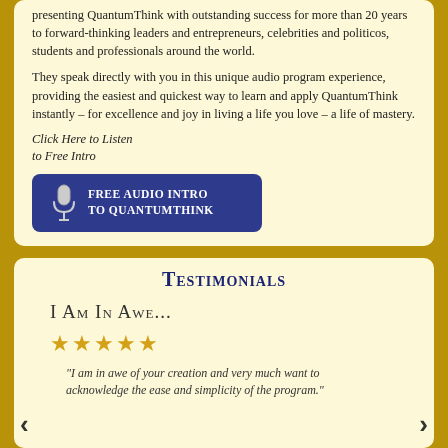presenting QuantumThink with outstanding success for more than 20 years to forward-thinking leaders and entrepreneurs, celebrities and politicos, students and professionals around the world.
They speak directly with you in this unique audio program experience, providing the easiest and quickest way to learn and apply QuantumThink instantly – for excellence and joy in living a life you love – a life of mastery.
Click Here to Listen to Free Intro
[Figure (other): Blue rounded button with microphone icon and text 'Free Audio Intro to QuantumThink']
Testimonials
I Am In Awe...
[Figure (other): Five gold star rating icons]
"I am in awe of your creation and very much want to acknowledge the ease and simplicity of the program."